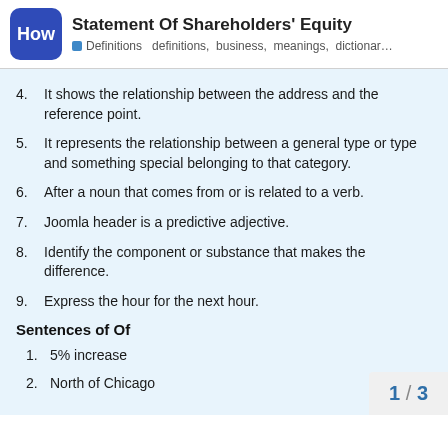Statement Of Shareholders' Equity — Definitions definitions, business, meanings, dictionar...
4. It shows the relationship between the address and the reference point.
5. It represents the relationship between a general type or type and something special belonging to that category.
6. After a noun that comes from or is related to a verb.
7. Joomla header is a predictive adjective.
8. Identify the component or substance that makes the difference.
9. Express the hour for the next hour.
Sentences of Of
1. 5% increase
2. North of Chicago
1 / 3